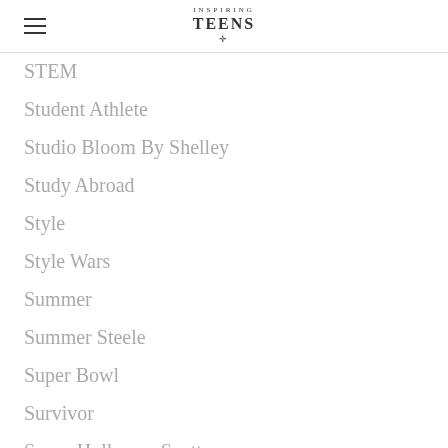Inspiring Teens
STEM
Student Athlete
Studio Bloom By Shelley
Study Abroad
Style
Style Wars
Summer
Summer Steele
Super Bowl
Survivor
Susan Holloway Scott
Sweden
Swim
Swimmer
Swimsuits
Switzerland
T1D
Taekwondo